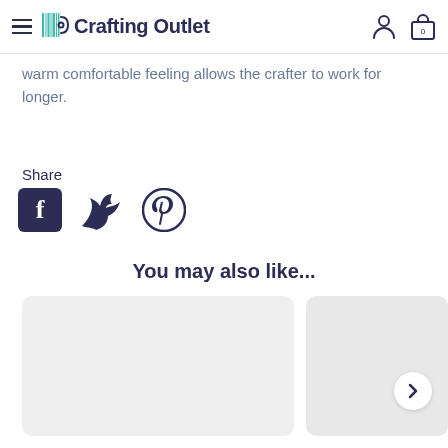Crafting Outlet
warm comfortable feeling allows the crafter to work for longer.
Share
[Figure (other): Social share icons: Facebook, Twitter, Pinterest]
You may also like...
[Figure (other): Product card placeholder (left)]
[Figure (other): Product card placeholder (right, partially visible) with right-arrow navigation button]